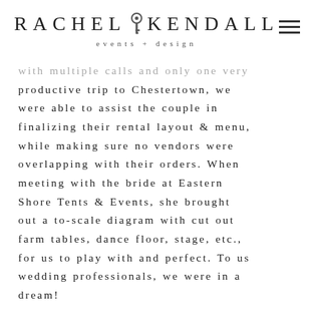RACHEL KENDALL events + design
with multiple calls and only one very productive trip to Chestertown, we were able to assist the couple in finalizing their rental layout & menu, while making sure no vendors were overlapping with their orders. When meeting with the bride at Eastern Shore Tents & Events, she brought out a to-scale diagram with cut out farm tables, dance floor, stage, etc., for us to play with and perfect. To us wedding professionals, we were in a dream!